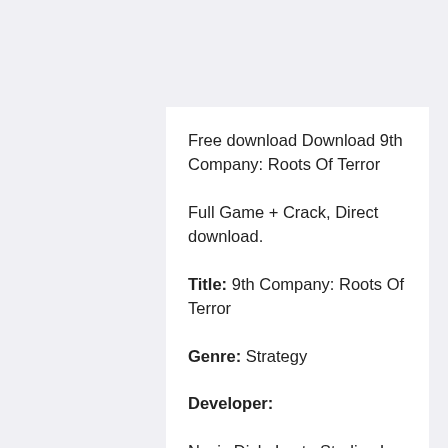Free download Download 9th Company: Roots Of Terror
Full Game + Crack, Direct download.
Title: 9th Company: Roots Of Terror
Genre: Strategy
Developer:
Noviy Disk, Lesta Studios Inc
Publisher: